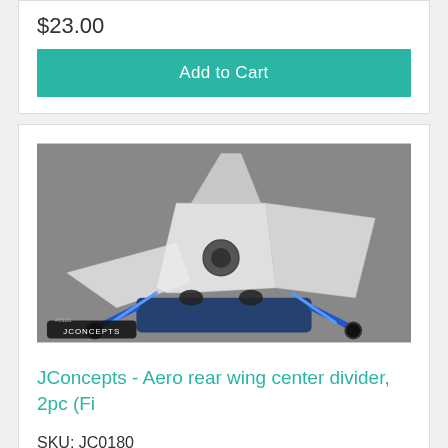$23.00
Add to Cart
[Figure (photo): JConcepts Aero rear wing center divider product photo showing a translucent white wing mounted on an RC car chassis with blue suspension components, gray background, JConcepts logo bottom left]
JConcepts - Aero rear wing center divider, 2pc (Fi
SKU: JC0180